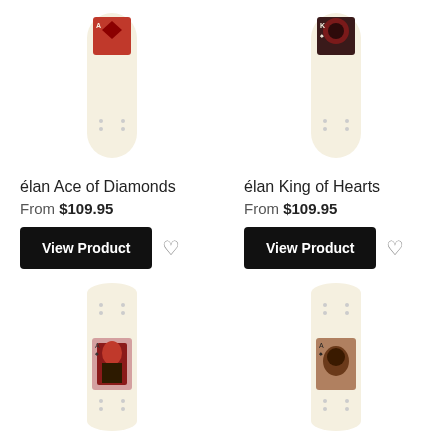[Figure (photo): élan Ace of Diamonds skateboard deck — cream/off-white board with red diamond card graphic at top, shown from below]
[Figure (photo): élan King of Hearts skateboard deck — cream/off-white board with dark red/black card graphic at top]
élan Ace of Diamonds
From $109.95
View Product
élan King of Hearts
From $109.95
View Product
[Figure (photo): élan skateboard deck — cream/off-white board with playing card Queen/figure graphic in red and black, ace of spades style]
[Figure (photo): élan skateboard deck — cream/off-white board with dark playing card graphic, earthy tones]